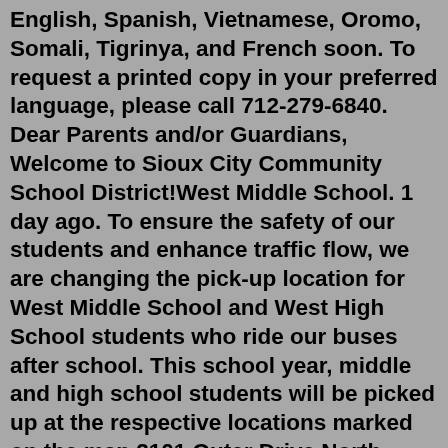English, Spanish, Vietnamese, Oromo, Somali, Tigrinya, and French soon. To request a printed copy in your preferred language, please call 712-279-6840. Dear Parents and/or Guardians, Welcome to Sioux City Community School District!West Middle School. 1 day ago. To ensure the safety of our students and enhance traffic flow, we are changing the pick-up location for West Middle School and West High School students who ride our buses after school. This school year, middle and high school students will be picked up at the respective locations marked on the map.2101 Outer Drive North Sioux City, IA 51108. Main Office: 712-279-6804 Fax: 712-277-5941. M: 7:45 am – 1:45 pm T-F: 7:45 am – 2:45 pm. Bell Schedule | Newsletter Send NMS a Message Sioux Valley School District - Home of the Cossacks . LEA ARP ESSER Plan 2021-22 COVID-19 Mitigation Plan . Search 2101 Outer Drive North Sioux City, IA 51108. Main Office: 712-279-6804 Fax: 712-277-5941. M: 7:45 am – 1:45 pm T-F: 7:45 am – 2:45 pm. Bell Schedule | Newsletter Send NMS a Message Mo...